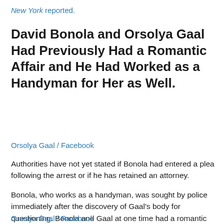New York reported.
David Bonola and Orsolya Gaal Had Previously Had a Romantic Affair and He Had Worked as a Handyman for Her as Well.
Orsolya Gaal / Facebook
Authorities have not yet stated if Bonola had entered a plea following the arrest or if he has retained an attorney.
Bonola, who works as a handyman, was sought by police immediately after the discovery of Gaal's body for questioning. Bonola and Gaal at one time had a romantic relationship, and it's likely he knew where the family had hidden a spare key to their Forest Hills residence, an NYPD source revealed to People.
Orsolya Gaal / Facebook